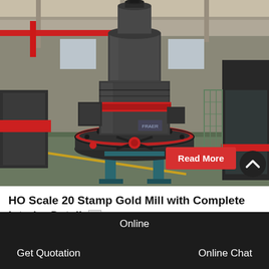[Figure (photo): Large industrial stamp mill machine (dark gray cylindrical body with red accent band, mounted on teal support legs) photographed in a factory/warehouse setting. Additional machinery visible on right. Green-tinted factory floor visible.]
Read More
HO Scale 20 Stamp Gold Mill with Complete Interior Detail
Online
Get Quotation
Online Chat